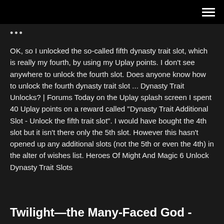≡
...
OK, so I unlocked the so-called fifth dynasty trait slot, which is really my fourth, by using my Uplay points. I don't see anywhere to unlock the fourth slot. Does anyone know how to unlock the fourth dynasty trait slot ... Dynasty Trait Unlocks? | Forums Today on the Uplay splash screen I spent 40 Uplay points on a reward called "Dynasty Trait Additional Slot - Unlock the fifth trait slot". I would have bought the 4th slot but it isn't there only the 5th slot. However this hasn't opened up any additional slots (not the 5th or even the 4th) in the alter of wishes list. Heroes Of Might And Magic 6 Unlock Dynasty Trait Slots
Twilight—the Many-Faced God -